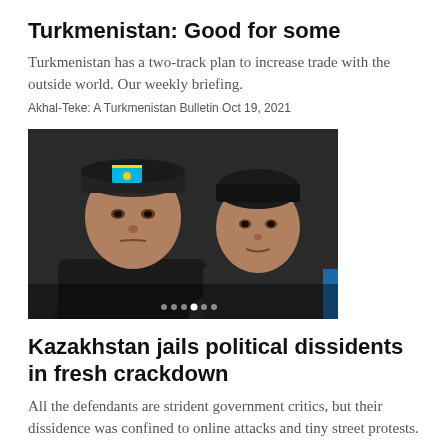Turkmenistan: Good for some
Turkmenistan has a two-track plan to increase trade with the outside world. Our weekly briefing.
Akhal-Teke: A Turkmenistan Bulletin Oct 19, 2021
[Figure (photo): Two men photographed close-up, one wearing a dark cap with a Kazakhstan flag patch, the other in a dark jacket. The image appears to be a video still or low-quality photograph.]
Kazakhstan jails political dissidents in fresh crackdown
All the defendants are strident government critics, but their dissidence was confined to online attacks and tiny street protests.